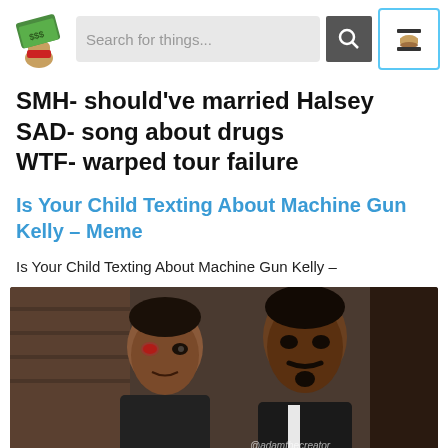[Figure (screenshot): Website header with a logo (hand holding money), a search bar reading 'Search for things...', a search button, and a hamburger menu icon with teal border]
SMH- should've married Halsey
SAD- song about drugs
WTF- warped tour failure
Is Your Child Texting About Machine Gun Kelly – Meme
Is Your Child Texting About Machine Gun Kelly –
[Figure (photo): Photo of two men in dark formal clothing, one on the left with a bruised eye, one on the right with a mustache and goatee. Watermark reads '@adamthecreator']